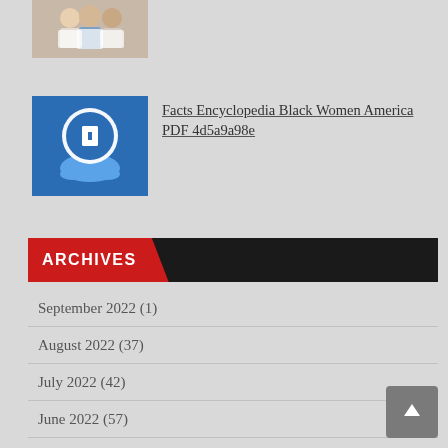[Figure (photo): Small thumbnail image of people, partially visible at top of page]
[Figure (illustration): Blue medical icon with a plus sign on a hand, thumbnail image]
Facts Encyclopedia Black Women America PDF 4d5a9a98e
ARCHIVES
September 2022 (1)
August 2022 (37)
July 2022 (42)
June 2022 (57)
May 2022 (53)
April 2022 (50)
March 2022 (61)
February 2022 (44)